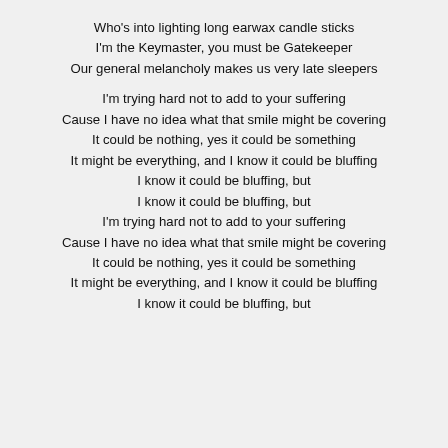Who's into lighting long earwax candle sticks
I'm the Keymaster, you must be Gatekeeper
Our general melancholy makes us very late sleepers

I'm trying hard not to add to your suffering
Cause I have no idea what that smile might be covering
It could be nothing, yes it could be something
It might be everything, and I know it could be bluffing
I know it could be bluffing, but
I know it could be bluffing, but
I'm trying hard not to add to your suffering
Cause I have no idea what that smile might be covering
It could be nothing, yes it could be something
It might be everything, and I know it could be bluffing
I know it could be bluffing, but